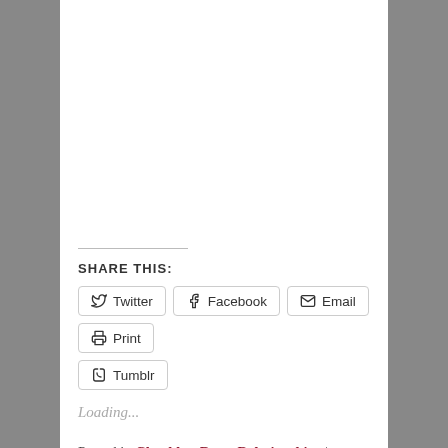SHARE THIS:
Loading...
Posted in Chuckles, Dogs, Relationships | Tagged brain tumors in dogs, journal writing, NCSU College of Veterinary Medicine, veterinary medicine | 8